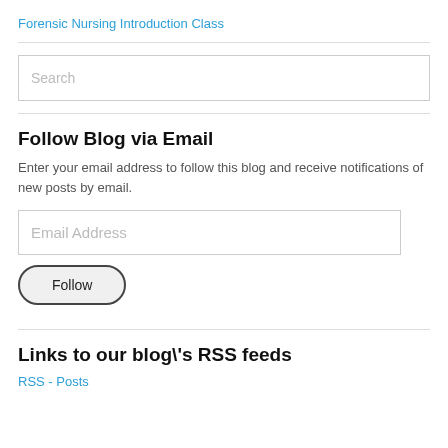Forensic Nursing Introduction Class
[Figure (screenshot): Search input box with placeholder text 'Search']
Follow Blog via Email
Enter your email address to follow this blog and receive notifications of new posts by email.
[Figure (screenshot): Email Address input box and Follow button]
Links to our blog\'s RSS feeds
RSS - Posts